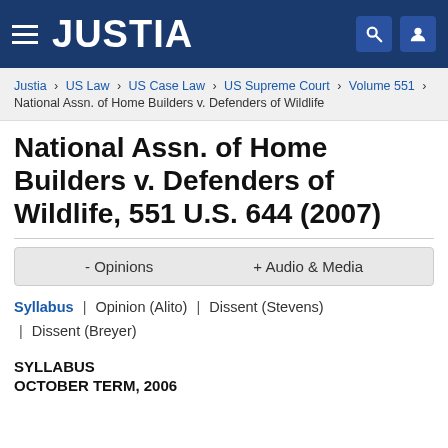JUSTIA
Justia › US Law › US Case Law › US Supreme Court › Volume 551 › National Assn. of Home Builders v. Defenders of Wildlife
National Assn. of Home Builders v. Defenders of Wildlife, 551 U.S. 644 (2007)
- Opinions   + Audio & Media
Syllabus | Opinion (Alito) | Dissent (Stevens) | Dissent (Breyer)
SYLLABUS
OCTOBER TERM, 2006